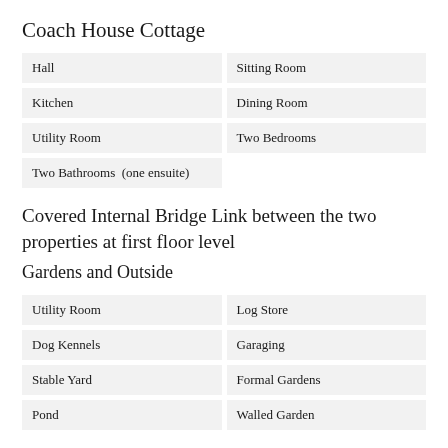Coach House Cottage
| Hall | Sitting Room |
| Kitchen | Dining Room |
| Utility Room | Two Bedrooms |
| Two Bathrooms  (one ensuite) |  |
Covered Internal Bridge Link between the two properties at first floor level
Gardens and Outside
| Utility Room | Log Store |
| Dog Kennels | Garaging |
| Stable Yard | Formal Gardens |
| Pond | Walled Garden |